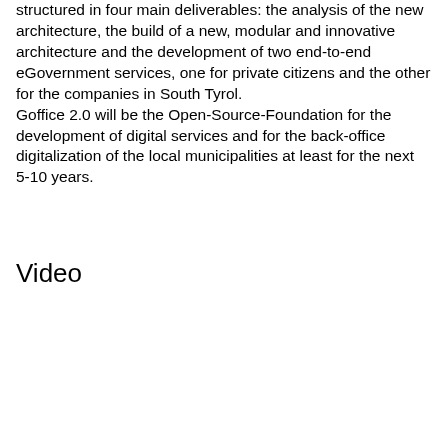structured in four main deliverables: the analysis of the new architecture, the build of a new, modular and innovative architecture and the development of two end-to-end eGovernment services, one for private citizens and the other for the companies in South Tyrol.
Goffice 2.0 will be the Open-Source-Foundation for the development of digital services and for the back-office digitalization of the local municipalities at least for the next 5-10 years.
Video